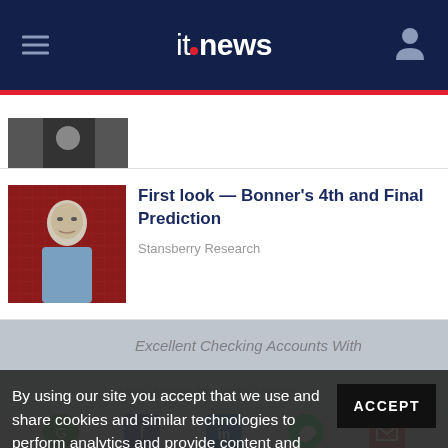itnews
[Figure (photo): Partial article thumbnail at top, partially cut off]
[Figure (photo): Thumbnail photo of elderly man in blue shirt against red background]
First look — Bonner’s 4th and Final Prediction
Stansberry Research
Excellent Checking Accounts With
By using our site you accept that we use and share cookies and similar technologies to perform analytics and provide content and ads tailored to your interests. By continuing to use our site, you consent to this. Please see our Cookie Policy for more information.
ACCEPT
New Vehicle Stocks By Parker